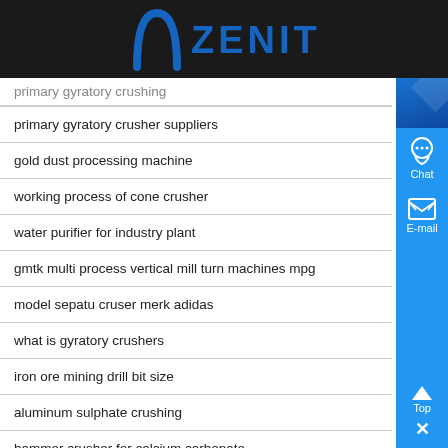ZENIT
primary gyratory crusher suppliers
gold dust processing machine
working process of cone crusher
water purifier for industry plant
gmtk multi process vertical mill turn machines mpg
model sepatu cruser merk adidas
what is gyratory crushers
iron ore mining drill bit size
aluminum sulphate crushing
hammer crusher for calcium carbonate